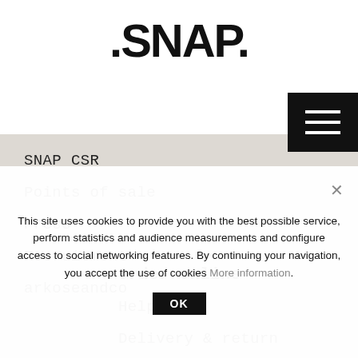.SNAP.
SNAP CSR
Points of sale
Press
Recruitment
arkoseandco
Order online
Help
Delivery & return
Your account
Secure paiement
This site uses cookies to provide you with the best possible service, perform statistics and audience measurements and configure access to social networking features. By continuing your navigation, you accept the use of cookies More information.
OK